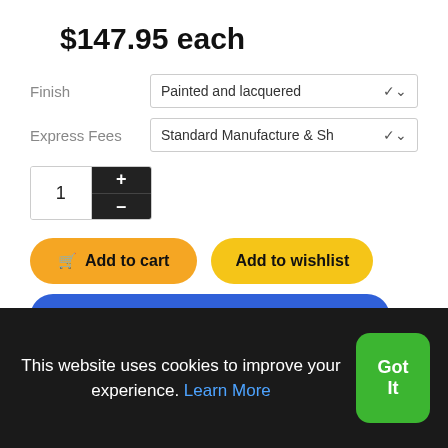$147.95 each
Finish: Painted and lacquered
Express Fees: Standard Manufacture & Sh
Quantity: 1
Add to cart
Add to wishlist
Contact us for more information
This website uses cookies to improve your experience. Learn More
Got It